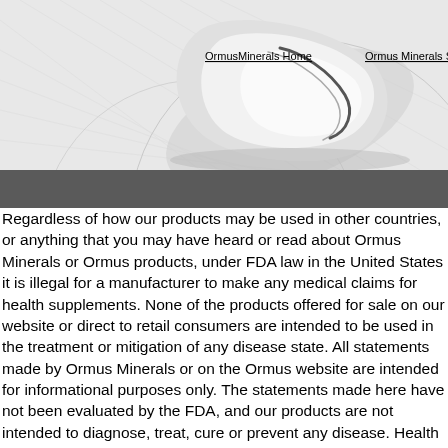[Figure (illustration): Website header graphic showing a decorative swirling/folded metallic or paper-like design on a light gray background with circular and diagonal line patterns. Navigation links 'OrmusMinerals Home' and 'Ormus Minerals St...' appear at the top right area.]
OrmusMinerals Home    Ormus Minerals St
Regardless of how our products may be used in other countries, or anything that you may have heard or read about Ormus Minerals or Ormus products, under FDA law in the United States it is illegal for a manufacturer to make any medical claims for health supplements. None of the products offered for sale on our website or direct to retail consumers are intended to be used in the treatment or mitigation of any disease state. All statements made by Ormus Minerals or on the Ormus website are intended for informational purposes only. The statements made here have not been evaluated by the FDA, and our products are not intended to diagnose, treat, cure or prevent any disease. Health decisions are much too important to be made without the advice of a health care practitioner. As with any dietary or herbal supplement, you should advise your health care practitioner of the use of this